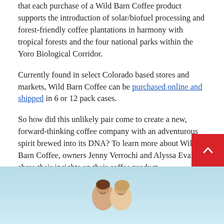that each purchase of a Wild Barn Coffee product supports the introduction of solar/biofuel processing and forest-friendly coffee plantations in harmony with tropical forests and the four national parks within the Yoro Biological Corridor.
Currently found in select Colorado based stores and markets, Wild Barn Coffee can be purchased online and shipped in 6 or 12 pack cases.
So how did this unlikely pair come to create a new, forward-thinking coffee company with an adventurous spirit brewed into its DNA? To learn more about Wild Barn Coffee, owners Jenny Verrochi and Alyssa Evans share their insights on their coffee product.
[Figure (photo): Two women smiling outdoors against a light blue sky background, partially visible at bottom of page. A red scroll-to-top button with an upward arrow is overlaid in the bottom-right corner.]